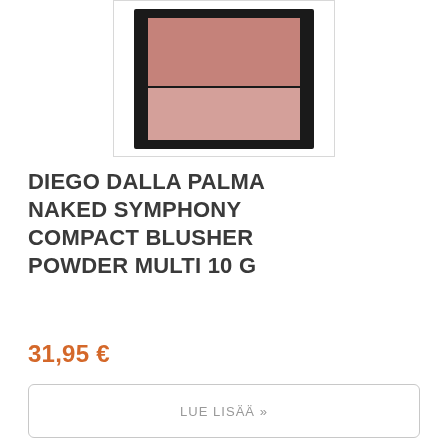[Figure (photo): A compact blush powder in a black rectangular case, shown from above, with two shades of pink/mauve stacked vertically, inside a white-bordered product image frame.]
DIEGO DALLA PALMA NAKED SYMPHONY COMPACT BLUSHER POWDER MULTI 10 G
31,95 €
LUE LISÄÄ »